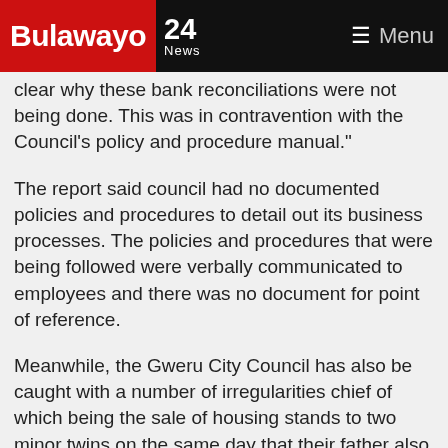Bulawayo 24 News | Menu
clear why these bank reconciliations were not being done. This was in contravention with the Council's policy and procedure manual."
The report said council had no documented policies and procedures to detail out its business processes. The policies and procedures that were being followed were verbally communicated to employees and there was no document for point of reference.
Meanwhile, the Gweru City Council has also be caught with a number of irregularities chief of which being the sale of housing stands to two minor twins on the same day that their father also purchased a stand from the local authority. In their defence Gweru council, while confirming the sale of the stands to the minors, claimed that the agreement of sale were signed by their parents on their behalf.